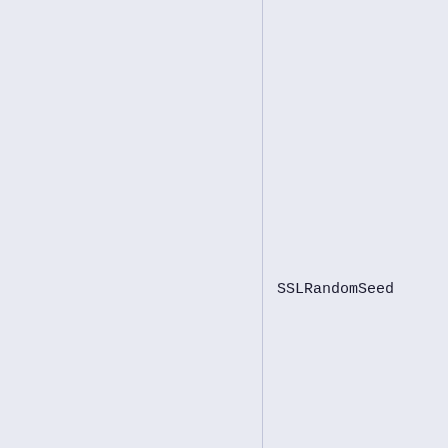|  | SSLRandomSeed | used to se the SSLEn PRNG. The default va builtin. developm systems, y may want this to /dev/ura to allow q start time |
|  |  | Set to on f request th OpenSSL FIPS mode OpenSSL already in mode, it w remain in mode). Se enter to t |